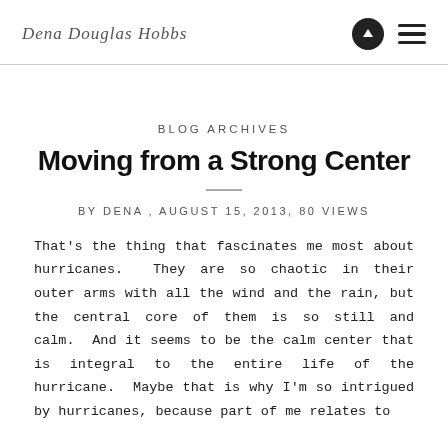Dena Douglas Hobbs
BLOG ARCHIVES
Moving from a Strong Center
BY DENA , AUGUST 15, 2013, 80 VIEWS
That's the thing that fascinates me most about hurricanes.  They are so chaotic in their outer arms with all the wind and the rain, but the central core of them is so still and calm.  And it seems to be the calm center that is integral to the entire life of the hurricane.  Maybe that is why I'm so intrigued by hurricanes, because part of me relates to